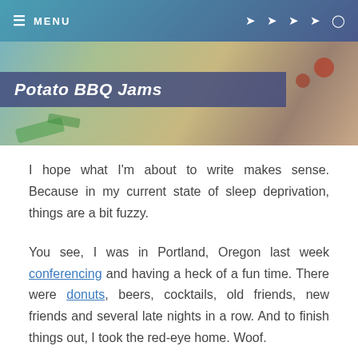≡ MENU
[Figure (photo): Food/recipe hero image with green beans and other ingredients visible, partially covered by a dark blue-purple title bar overlay with italic text reading 'Potato BBQ Jams' or similar.]
I hope what I'm about to write makes sense. Because in my current state of sleep deprivation, things are a bit fuzzy.
You see, I was in Portland, Oregon last week conferencing and having a heck of a fun time. There were donuts, beers, cocktails, old friends, new friends and several late nights in a row. And to finish things out, I took the red-eye home. Woof.
I'm still feeling the effects of that overnight flight today. And all those other decisions that I made about sugar